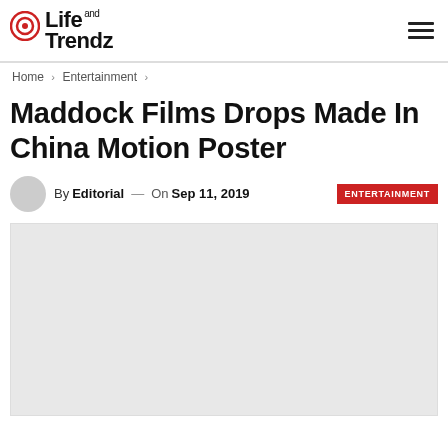Life and Trendz
Home > Entertainment >
Maddock Films Drops Made In China Motion Poster
By Editorial — On Sep 11, 2019  ENTERTAINMENT
[Figure (photo): Placeholder image area (light gray rectangle) for article image]